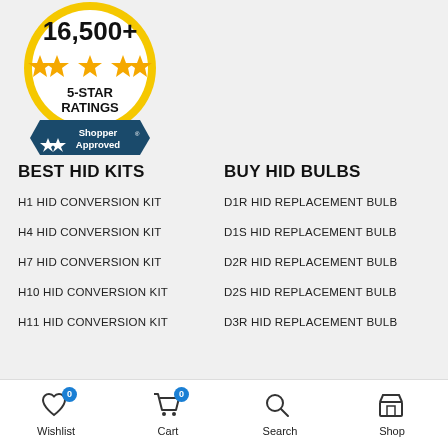[Figure (logo): Shopper Approved badge with gold circle, 16,500+ and 5 gold stars, '5-STAR RATINGS' text, and dark teal ribbon with 'Shopper Approved' and star logo]
BEST HID KITS
BUY HID BULBS
H1 HID CONVERSION KIT
D1R HID REPLACEMENT BULB
H4 HID CONVERSION KIT
D1S HID REPLACEMENT BULB
H7 HID CONVERSION KIT
D2R HID REPLACEMENT BULB
H10 HID CONVERSION KIT
D2S HID REPLACEMENT BULB
H11 HID CONVERSION KIT
D3R HID REPLACEMENT BULB
Wishlist 0  Cart 0  Search  Shop